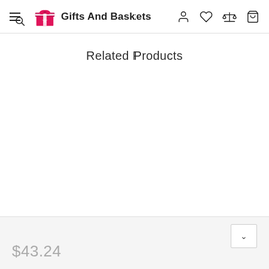Gifts And Baskets
Related Products
$43.24